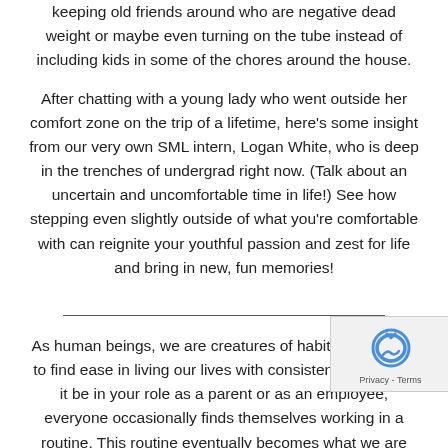keeping old friends around who are negative dead weight or maybe even turning on the tube instead of including kids in some of the chores around the house.
After chatting with a young lady who went outside her comfort zone on the trip of a lifetime, here's some insight from our very own SML intern, Logan White, who is deep in the trenches of undergrad right now. (Talk about an uncertain and uncomfortable time in life!) See how stepping even slightly outside of what you're comfortable with can reignite your youthful passion and zest for life and bring in new, fun memories!
As human beings, we are creatures of habit. We all tend to find ease in living our lives with consistency. Whether it be in your role as a parent or as an employee, everyone occasionally finds themselves working in a routine. This routine eventually becomes what we are comfortable with.
When it is suggested that we do something outside of this, we are immediately concerned with the unknown. Although this fear is nothing short of common, it demonstrates a human fear of discomfort.